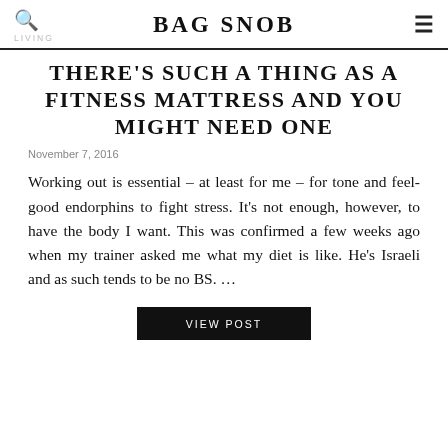BAG SNOB | LIVING
THERE'S SUCH A THING AS A FITNESS MATTRESS AND YOU MIGHT NEED ONE
November 7, 2016
Working out is essential – at least for me – for tone and feel-good endorphins to fight stress. It's not enough, however, to have the body I want. This was confirmed a few weeks ago when my trainer asked me what my diet is like. He's Israeli and as such tends to be no BS. ...
VIEW POST